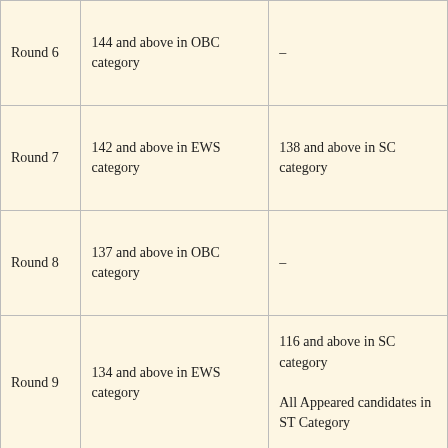| Round 6 | 144 and above in OBC category | – |
| Round 7 | 142 and above in EWS category | 138 and above in SC category |
| Round 8 | 137 and above in OBC category | – |
| Round 9 | 134 and above in EWS category | 116 and above in SC category
All Appeared candidates in ST Category |
| Round 10 | 134 and above in OBC category | – |